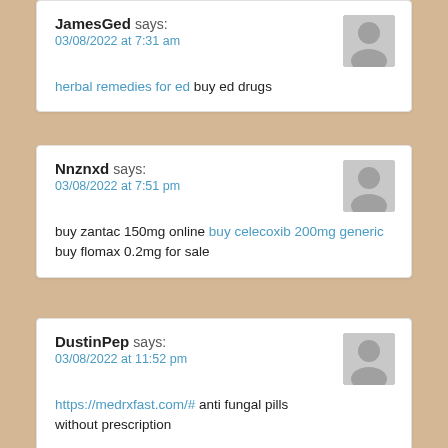JamesGed says: 03/08/2022 at 7:31 am — herbal remedies for ed buy ed drugs
Nnznxd says: 03/08/2022 at 7:51 pm — buy zantac 150mg online buy celecoxib 200mg generic buy flomax 0.2mg for sale
DustinPep says: 03/08/2022 at 11:52 pm — https://medrxfast.com/# anti fungal pills without prescription